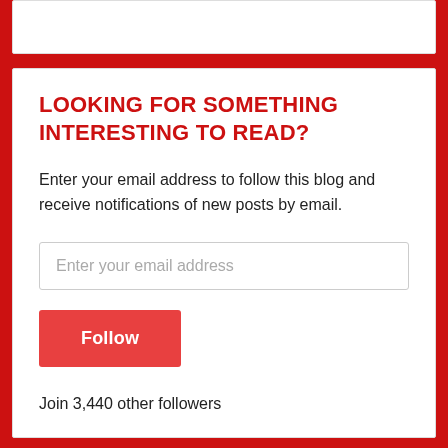LOOKING FOR SOMETHING INTERESTING TO READ?
Enter your email address to follow this blog and receive notifications of new posts by email.
Enter your email address
Follow
Join 3,440 other followers